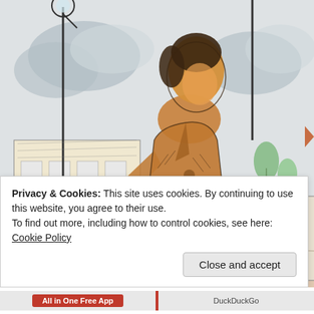[Figure (illustration): Watercolor and ink illustration of a person in a brown trench coat with arms outstretched, standing in an urban street scene with lamp posts, buildings, trees, and cloudy sky in the background.]
Privacy & Cookies: This site uses cookies. By continuing to use this website, you agree to their use.
To find out more, including how to control cookies, see here: Cookie Policy
Close and accept
All in One Free App
DuckDuckGo